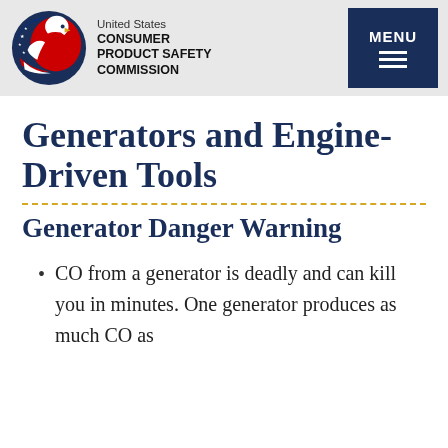United States CONSUMER PRODUCT SAFETY COMMISSION
Generators and Engine-Driven Tools
Generator Danger Warning
CO from a generator is deadly and can kill you in minutes. One generator produces as much CO as